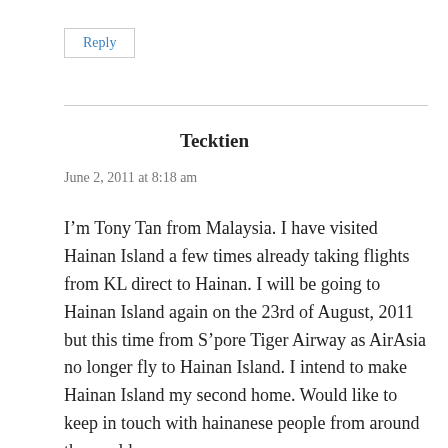Reply
Tecktien
June 2, 2011 at 8:18 am
I’m Tony Tan from Malaysia. I have visited Hainan Island a few times already taking flights from KL direct to Hainan. I will be going to Hainan Island again on the 23rd of August, 2011 but this time from S’pore Tiger Airway as AirAsia no longer fly to Hainan Island. I intend to make Hainan Island my second home. Would like to keep in touch with hainanese people from around the world.